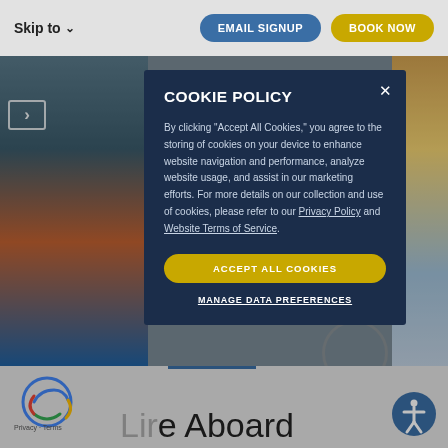Skip to  EMAIL SIGNUP  BOOK NOW
[Figure (screenshot): Background showing cruise ship images on left and right sides of the page]
COOKIE POLICY
By clicking "Accept All Cookies," you agree to the storing of cookies on your device to enhance website navigation and performance, analyze website usage, and assist in our marketing efforts. For more details on our collection and use of cookies, please refer to our Privacy Policy and Website Terms of Service.
ACCEPT ALL COOKIES
MANAGE DATA PREFERENCES
Life Aboard